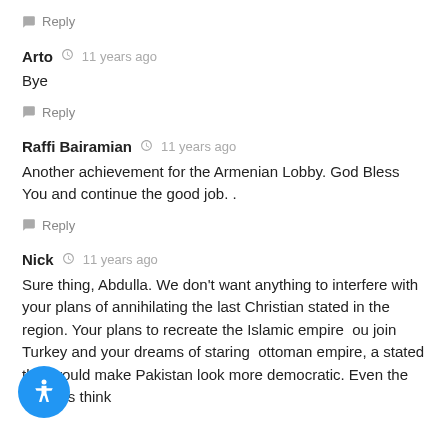Reply
Arto  11 years ago
Bye
Reply
Raffi Bairamian  11 years ago
Another achievement for the Armenian Lobby. God Bless You and continue the good job. .
Reply
Nick  11 years ago
Sure thing, Abdulla. We don't want anything to interfere with your plans of annihilating the last Christian stated in the region. Your plans to recreate the Islamic empire ou join Turkey and your dreams of staring ottoman empire, a stated that would make Pakistan look more democratic. Even the Iranians think